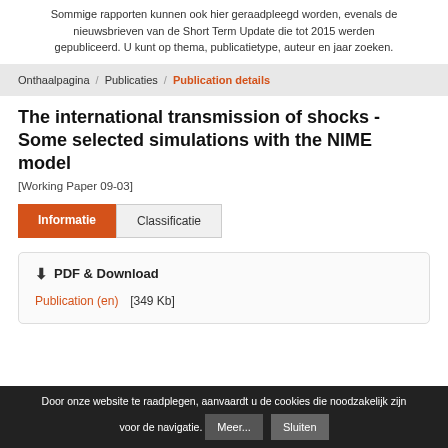Sommige rapporten kunnen ook hier geraadpleegd worden, evenals de nieuwsbrieven van de Short Term Update die tot 2015 werden gepubliceerd. U kunt op thema, publicatietype, auteur en jaar zoeken.
Onthaalpagina / Publicaties / Publication details
The international transmission of shocks - Some selected simulations with the NIME model
[Working Paper 09-03]
Informatie  Classificatie
PDF & Download
Publication (en)  [349 Kb]
Door onze website te raadplegen, aanvaardt u de cookies die noodzakelijk zijn voor de navigatie. Meer... Sluiten